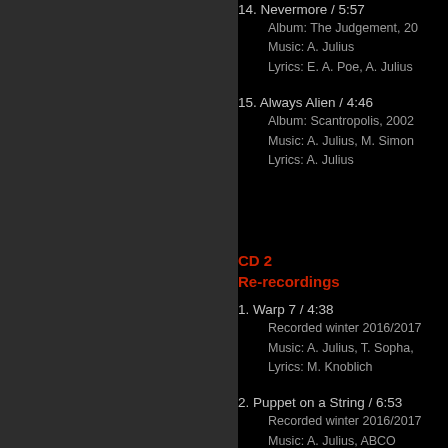14. Nevermore / 5:57
    Album: The Judgement, 20...
    Music: A. Julius
    Lyrics: E. A. Poe, A. Julius
15. Always Alien / 4:46
    Album: Scantropolis, 2002
    Music: A. Julius, M. Simon...
    Lyrics: A. Julius
CD 2
Re-recordings
1. Warp 7 / 4:38
    Recorded winter 2016/2017...
    Music: A. Julius, T. Sopha,...
    Lyrics: M. Knoblich
2. Puppet on a String / 6:53
    Recorded winter 2016/2017...
    Music: A. Julius, ABCO...